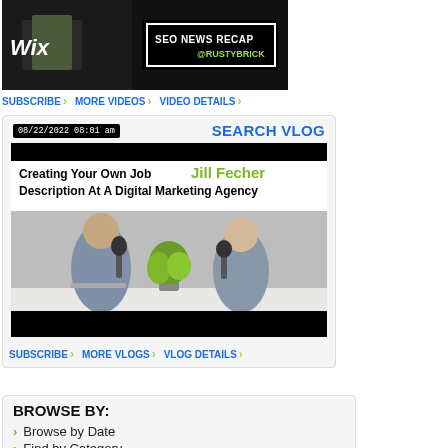[Figure (screenshot): Video thumbnail showing Wix logo and SEO News Recap @RustyBrick text on dark background]
SUBSCRIBE › MORE VIDEOS › VIDEO DETAILS ›
08/22/2022 08:01 am
SEARCH VLOG
[Figure (screenshot): Vlog thumbnail: Creating Your Own Job Description At A Digital Marketing Agency with Jill Fecher - two people sitting at a desk with microphones]
SUBSCRIBE › MORE VLOGS › VLOG DETAILS ›
BROWSE BY:
Browse by Date
Find by Category